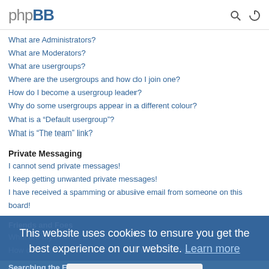phpBB
What are Administrators?
What are Moderators?
What are usergroups?
Where are the usergroups and how do I join one?
How do I become a usergroup leader?
Why do some usergroups appear in a different colour?
What is a “Default usergroup”?
What is “The team” link?
Private Messaging
I cannot send private messages!
I keep getting unwanted private messages!
I have received a spamming or abusive email from someone on this board!
Friends and Foes
What are my Friends and Foes lists?
How can I add / remove users to my Friends or Foes list?
Searching the Forums
How can I search a forum or forums?
Why does my search return no results?
Why does my search return a blank page!?
How do I search for members?
How can I find my own posts and topics?
This website uses cookies to ensure you get the best experience on our website. Learn more
Got it!